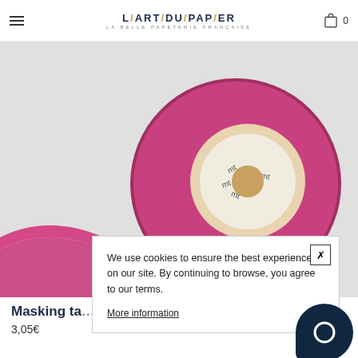L/ART/DU/PAP/ER — LA BELLE PAPETERIE FRANÇAISE
[Figure (photo): A roll of pink/magenta washi masking tape (mt brand) on a white/grey background, with the tape unrolling diagonally to the left.]
We use cookies to ensure the best experience on our site. By continuing to browse, you agree to our terms.
More information
Masking ta…
3,05€